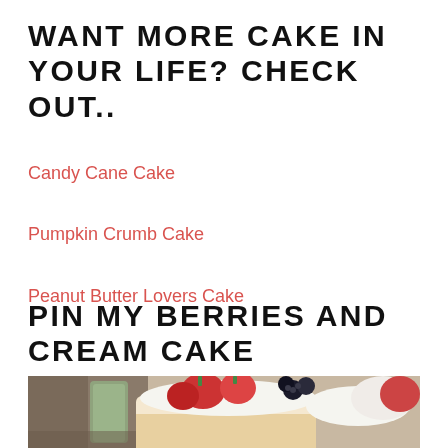WANT MORE CAKE IN YOUR LIFE? CHECK OUT..
Candy Cane Cake
Pumpkin Crumb Cake
Peanut Butter Lovers Cake
PIN MY BERRIES AND CREAM CAKE
[Figure (photo): Photo of a berries and cream cake topped with fresh strawberries, blackberries, and whipped cream]